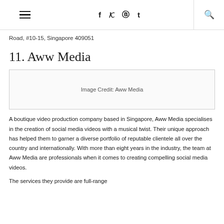≡  f  ꜩ  ⊕  t  🔍
Road, #10-15, Singapore 409051
11. Aww Media
[Figure (other): Image Credit: Aww Media]
A boutique video production company based in Singapore, Aww Media specialises in the creation of social media videos with a musical twist. Their unique approach has helped them to garner a diverse portfolio of reputable clientele all over the country and internationally. With more than eight years in the industry, the team at Aww Media are professionals when it comes to creating compelling social media videos.
The services they provide are full-range